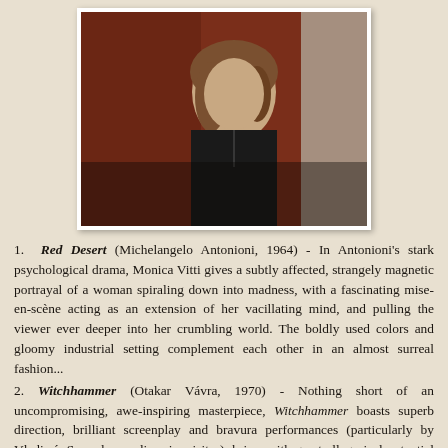[Figure (photo): Portrait photo of a woman with shoulder-length brown hair wearing a dark top, standing against a reddish-brown wooden wall and a light-colored wall]
1. Red Desert (Michelangelo Antonioni, 1964) - In Antonioni's stark psychological drama, Monica Vitti gives a subtly affected, strangely magnetic portrayal of a woman spiraling down into madness, with a fascinating mise-en-scène acting as an extension of her vacillating mind, and pulling the viewer ever deeper into her crumbling world. The boldly used colors and gloomy industrial setting complement each other in an almost surreal fashion...
2. Witchhammer (Otakar Vávra, 1970) - Nothing short of an uncompromising, awe-inspiring masterpiece, Witchhammer boasts superb direction, brilliant screenplay and bravura performances (particularly by Vladimír Smeral as a slimy inquisitor), brims with great allegorical potential and fiercely strikes with its bleak, unfading relevance, and on top of that